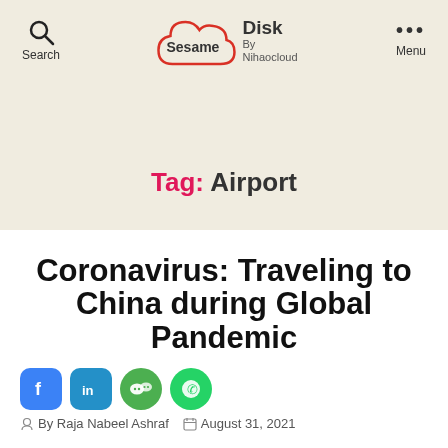Search | Sesame Disk By Nihaocloud | Menu
Tag: Airport
Coronavirus: Traveling to China during Global Pandemic
By Raja Nabeel Ashraf   August 31, 2021